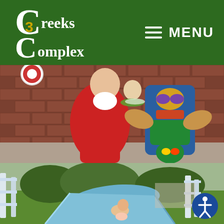3 Creeks Complex — MENU navigation header
[Figure (photo): Person in red outfit and child with flower lei posing next to a large colorful inflatable tiki/totem pole character in front of a brick building with life preserver ring visible]
[Figure (photo): Outdoor water slide at a recreation complex with a person and child riding down the blue slide, green grass, trees and slide structure visible in background]